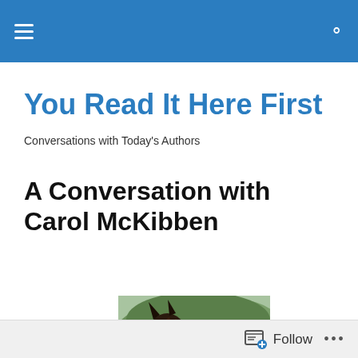You Read It Here First — navigation bar
You Read It Here First
Conversations with Today's Authors
A Conversation with Carol McKibben
[Figure (photo): Photo of a woman with blonde hair and sunglasses smiling next to a dark brown horse, outdoors with trees in the background.]
Follow ...